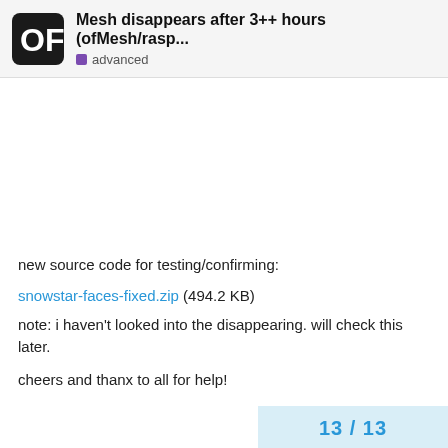Mesh disappears after 3++ hours (ofMesh/rasp... advanced
new source code for testing/confirming:
snowstar-faces-fixed.zip (494.2 KB)
note: i haven't looked into the disappearing. will check this later.
cheers and thanx to all for help!
13 / 13